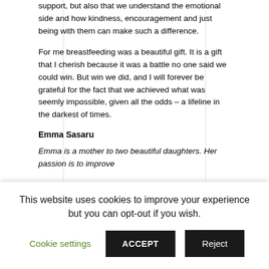support, but also that we understand the emotional side and how kindness, encouragement and just being with them can make such a difference.
For me breastfeeding was a beautiful gift. It is a gift that I cherish because it was a battle no one said we could win. But win we did, and I will forever be grateful for the fact that we achieved what was seemly impossible, given all the odds – a lifeline in the darkest of times.
Emma Sasaru
Emma is a mother to two beautiful daughters. Her passion is to improve
This website uses cookies to improve your experience but you can opt-out if you wish.
Cookie settings
ACCEPT
Reject